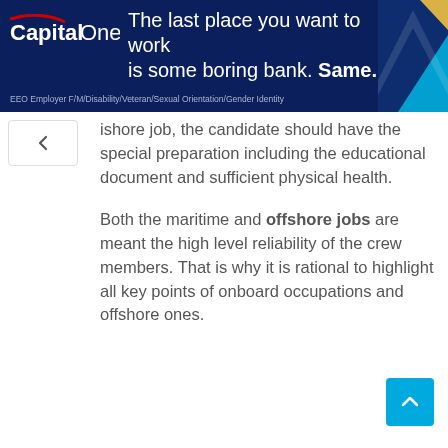[Figure (screenshot): Capital One banner advertisement with dark navy background, Capital One logo on left, text 'The last place you want to work is some boring bank. Same.' on right side with blue chevron decoration, EEO employer disclaimer at bottom]
ishore job, the candidate should have the special preparation including the educational document and sufficient physical health.
Both the maritime and offshore jobs are meant the high level reliability of the crew members. That is why it is rational to highlight all key points of onboard occupations and offshore ones.